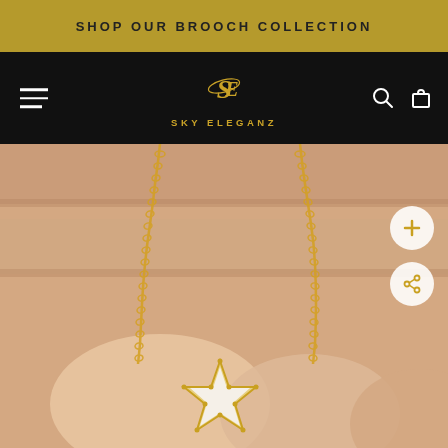SHOP OUR BROOCH COLLECTION
[Figure (logo): Sky Eleganz brand logo with stylized SE monogram in gold on black background with brand name below]
[Figure (photo): Close-up photo of a gold chain necklace with a white star-shaped mother-of-pearl pendant held between fingers against a blurred background]